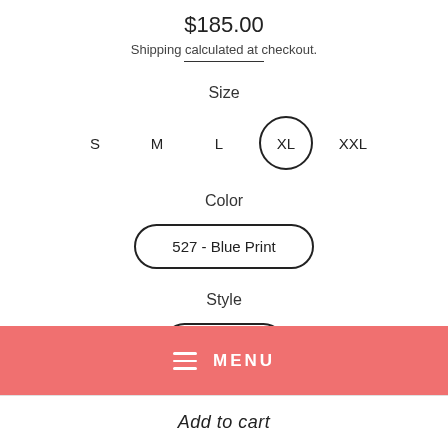$185.00
Shipping calculated at checkout.
Size
S  M  L  XL  XXL
Color
527 - Blue Print
Style
375-07-3
MENU
Add to cart